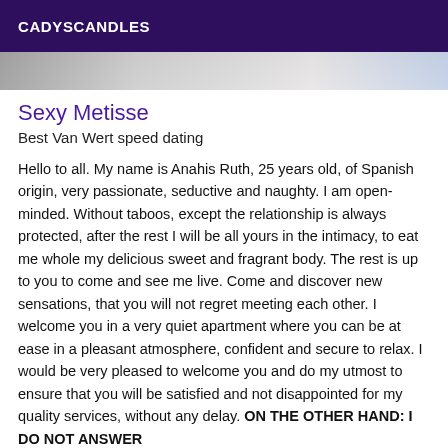CADYSCANDLES
[Figure (photo): Partial photo strip showing blurred image at top of content area]
Sexy Metisse
Best Van Wert speed dating
Hello to all. My name is Anahis Ruth, 25 years old, of Spanish origin, very passionate, seductive and naughty. I am open-minded. Without taboos, except the relationship is always protected, after the rest I will be all yours in the intimacy, to eat me whole my delicious sweet and fragrant body. The rest is up to you to come and see me live. Come and discover new sensations, that you will not regret meeting each other. I welcome you in a very quiet apartment where you can be at ease in a pleasant atmosphere, confident and secure to relax. I would be very pleased to welcome you and do my utmost to ensure that you will be satisfied and not disappointed for my quality services, without any delay. ON THE OTHER HAND: I DO NOT ANSWER